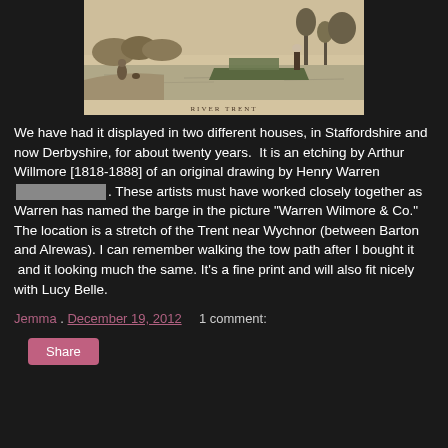[Figure (illustration): An etching of a river scene showing a barge on the Trent near Wychnor, with figures on the towpath and trees along the bank. Labeled 'RIVER TRENT' at the bottom.]
We have had it displayed in two different houses, in Staffordshire and now Derbyshire, for about twenty years.  It is an etching by Arthur Willmore [1818-1888] of an original drawing by Henry Warren [redacted]. These artists must have worked closely together as Warren has named the barge in the picture "Warren Wilmore & Co." The location is a stretch of the Trent near Wychnor (between Barton and Alrewas). I can remember walking the tow path after I bought it  and it looking much the same. It's a fine print and will also fit nicely with Lucy Belle.
Jemma . December 19, 2012   1 comment:
Share